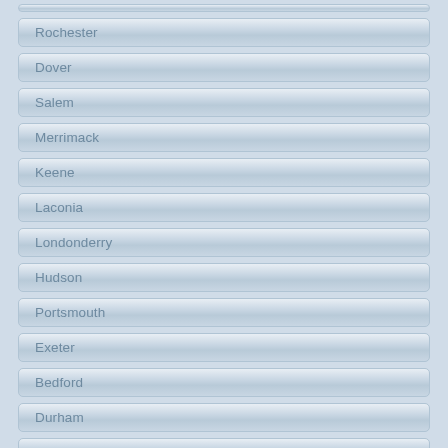Rochester
Dover
Salem
Merrimack
Keene
Laconia
Londonderry
Hudson
Portsmouth
Exeter
Bedford
Durham
Goffstown